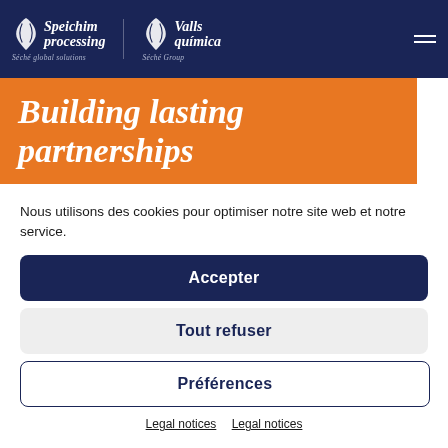Speichim processing – Séché global solutions | Valls química – Séché Group
Building lasting partnerships
Nous utilisons des cookies pour optimiser notre site web et notre service.
Accepter
Tout refuser
Préférences
Legal notices   Legal notices